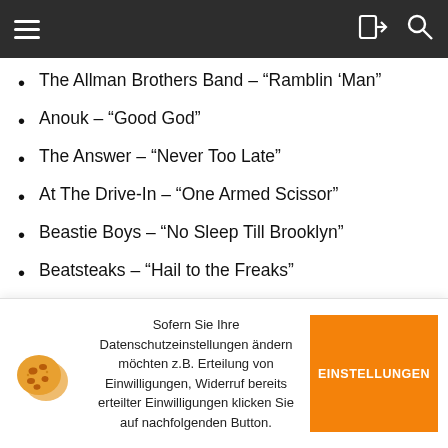Navigation bar with hamburger menu and icons
The Allman Brothers Band – “Ramblin ‘Man”
Anouk – “Good God”
The Answer – “Never Too Late”
At The Drive-In – “One Armed Scissor”
Beastie Boys – “No Sleep Till Brooklyn”
Beatsteaks – “Hail to the Freaks”
Billy Idol – “Rebel Yell”
Black Label Society – “Still Born”
Black Rebel Motorcycle Club – “Weapon of Choice
Sofern Sie Ihre Datenschutzeinstellungen ändern möchten z.B. Erteilung von Einwilligungen, Widerruf bereits erteilter Einwilligungen klicken Sie auf nachfolgenden Button.
EINSTELLUNGEN